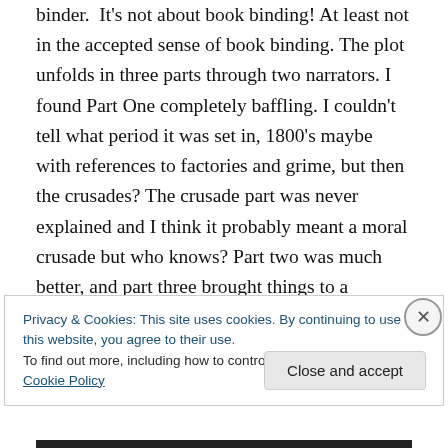binder. It's not about book binding! At least not in the accepted sense of book binding. The plot unfolds in three parts through two narrators. I found Part One completely baffling. I couldn't tell what period it was set in, 1800's maybe with references to factories and grime, but then the crusades? The crusade part was never explained and I think it probably meant a moral crusade but who knows? Part two was much better, and part three brought things to a conclusion. It was quite enjoyable, and that's the best I can say. And the book binding bit- painful memories bound
Privacy & Cookies: This site uses cookies. By continuing to use this website, you agree to their use.
To find out more, including how to control cookies, see here: Cookie Policy
Close and accept